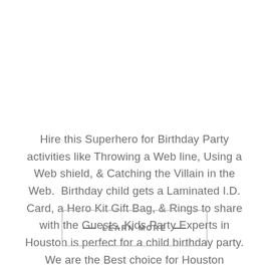Hire this Superhero for Birthday Party activities like Throwing a Web line, Using a Web shield, & Catching the Villain in the Web.  Birthday child gets a Laminated I.D. Card, a Hero Kit Gift Bag, & Rings to share with the Guests. Kids Party Experts in Houston is perfect for a child birthday party. We are the Best choice for Houston Costumed Characters.
— LEARN MORE —